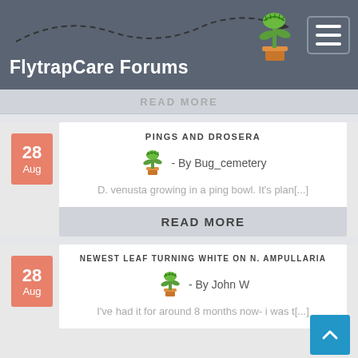FlytrapCare Forums
READ MORE
PINGS AND DROSERA
- By Bug_cemetery
D. venusta growing in a ping bowl. It's plan[...]
READ MORE
NEWEST LEAF TURNING WHITE ON N. AMPULLARIA
- By John W
I've had it for around 8 months now- i was t[...]